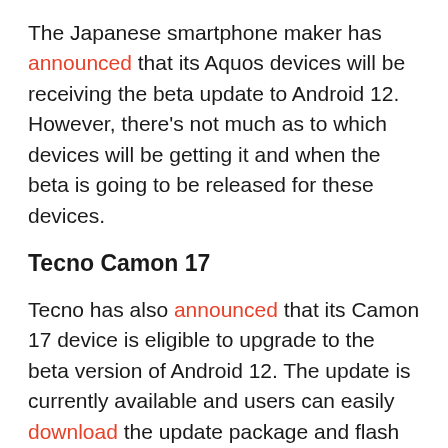The Japanese smartphone maker has announced that its Aquos devices will be receiving the beta update to Android 12. However, there's not much as to which devices will be getting it and when the beta is going to be released for these devices.
Tecno Camon 17
Tecno has also announced that its Camon 17 device is eligible to upgrade to the beta version of Android 12. The update is currently available and users can easily download the update package and flash their devices with the update. There's no information however if the previous Camon 16 series will be eligible for the beta